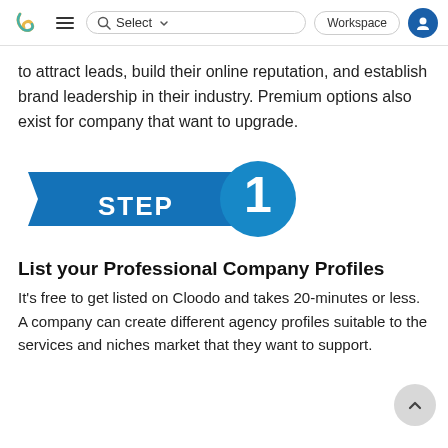Cloodo navigation bar with logo, hamburger menu, search, Select dropdown, Workspace button, and user icon
to attract leads, build their online reputation, and establish brand leadership in their industry. Premium options also exist for company that want to upgrade.
[Figure (infographic): Step 1 graphic: a blue rectangular banner with the text STEP and a teal circle on the right containing the number 1]
List your Professional Company Profiles
It's free to get listed on Cloodo and takes 20-minutes or less. A company can create different agency profiles suitable to the services and niches market that they want to support.